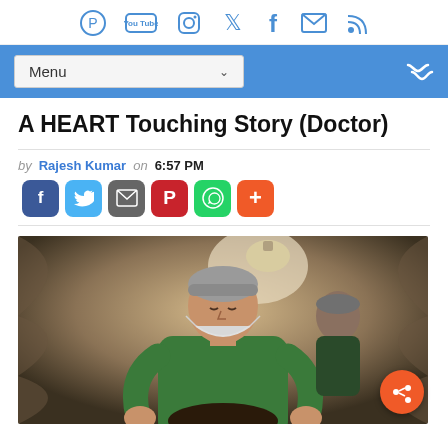Social icons: Pinterest, YouTube, Instagram, Twitter, Facebook, Mail, RSS
[Figure (screenshot): Navigation bar with Menu dropdown and shuffle icon on blue background]
A HEART Touching Story (Doctor)
by Rajesh Kumar on 6:57 PM [Share buttons: Facebook, Twitter, Gmail, Pinterest, WhatsApp, Plus]
[Figure (photo): A doctor in green scrubs and surgical cap performing a medical procedure on a patient]